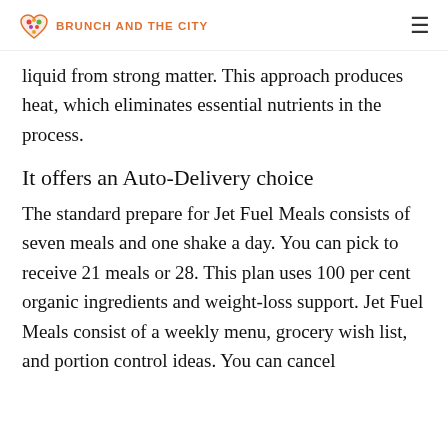BRUNCH AND THE CITY
liquid from strong matter. This approach produces heat, which eliminates essential nutrients in the process.
It offers an Auto-Delivery choice
The standard prepare for Jet Fuel Meals consists of seven meals and one shake a day. You can pick to receive 21 meals or 28. This plan uses 100 per cent organic ingredients and weight-loss support. Jet Fuel Meals consist of a weekly menu, grocery wish list, and portion control ideas. You can cancel